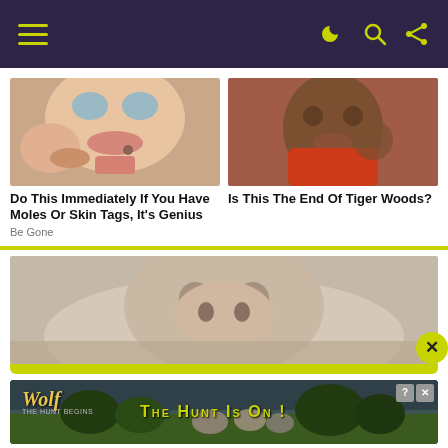Navigation bar with hamburger menu and icons
[Figure (photo): Close-up photo of a young woman with blue eyes touching a mole near her lip]
[Figure (photo): Photo of Tiger Woods crying, wearing a red shirt]
Do This Immediately If You Have Moles Or Skin Tags, It's Genius
Is This The End Of Tiger Woods?
Be Gone
[Figure (photo): Close-up photo of a pig's snout and face]
[Figure (photo): Advertisement banner: Wolf Game - The Hunt Is On!]